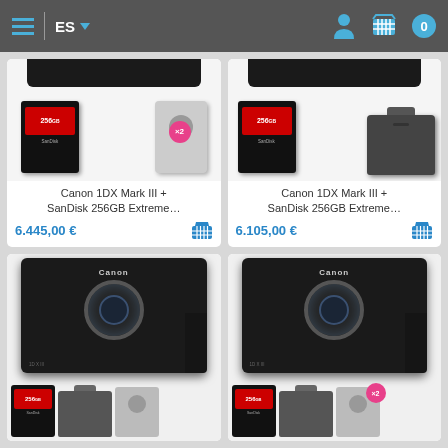ES (language selector) | navigation bar with hamburger menu, person icon, cart icon, badge 0
[Figure (screenshot): Product card top-left: Canon 1DX Mark III + SanDisk 256GB Extreme... showing partial camera top and accessory items (memory card x2 badge, card reader). Price: 6.445,00 €]
[Figure (screenshot): Product card top-right: Canon 1DX Mark III + SanDisk 256GB Extreme... showing partial camera top and accessory items (memory card, camera bag). Price: 6.105,00 €]
[Figure (screenshot): Product card bottom-left: Canon 1DX Mark III + SanDisk 256GB Extreme... showing full Canon DSLR camera body + memory card, bag, card reader accessories]
[Figure (screenshot): Product card bottom-right: Canon 1DX Mark III + SanDisk 256GB Extreme... showing full Canon DSLR camera body + memory card, bag, card reader with x2 badge]